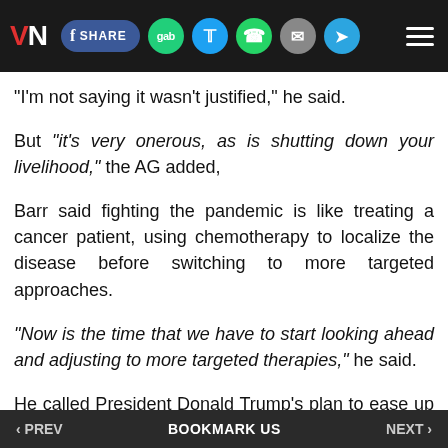VN [logo] | SHARE | gab | Twitter | WhatsApp | Email | Telegram | Menu
"I'm not saying it wasn't justified," he said.
But "it's very onerous, as is shutting down your livelihood," the AG added,
Barr said fighting the pandemic is like treating a cancer patient, using chemotherapy to localize the disease before switching to more targeted approaches.
"Now is the time that we have to start looking ahead and adjusting to more targeted therapies," he said.
He called President Donald Trump's plan to ease up on restrictions "a very commonsensical approach" based on assessing the status of the virus in each city and state.
‹ PREV   BOOKMARK US   NEXT ›